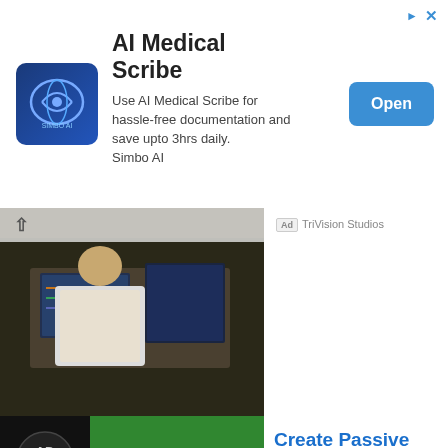[Figure (screenshot): Top banner ad for AI Medical Scribe by Simbo AI with blue brain logo, description text, and Open button]
AI Medical Scribe
Use AI Medical Scribe for hassle-free documentation and save upto 3hrs daily. Simbo AI
[Figure (photo): Person in white robe working at a desk with monitors showing data]
Ad TriVision Studios
[Figure (screenshot): Ad banner: DON'T MISS YOUR CHANCE TO TRIPLE YOUR INCOME THIS YEAR with person in suit and coins]
Create Passive Income Business
Ad Adam Cherrington
[Figure (photo): Smart city skyline at night with WiFi and IoT icons overlaid]
Schedule a Free Demo
Ad Kaseware